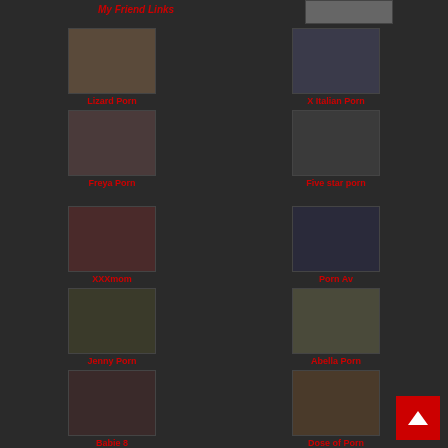My Friend Links
Exxxtra
Lizard Porn
X Italian Porn
Freya Porn
Five star porn
XXXmom
Porn Av
Jenny Porn
Abella Porn
Babie 8
Dose of Porn